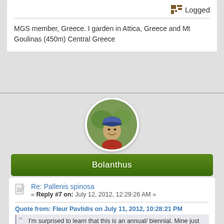Logged
MGS member, Greece. I garden in Attica, Greece and Mt Goulinas (450m) Central Greece
[Figure (photo): Circular avatar photo of a smiling man wearing a blue cap outdoors with green foliage background]
Bolanthus
Re: Pallenis spinosa
« Reply #7 on: July 12, 2012, 12:29:26 AM »
Quote from: Fleur Pavlidis on July 11, 2012, 10:28:21 PM
I'm surprised to learn that this is an annual/ biennial. Mine just seem to come up every year in the same place.